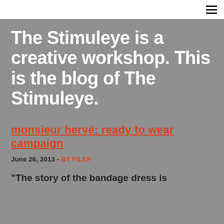☰
The Stimuleye is a creative workshop. This is the blog of The Stimuleye.
monsieur hervé: ready to wear campaign
June 26, 2013 - BY FILEP
“The story of the bandage dress is